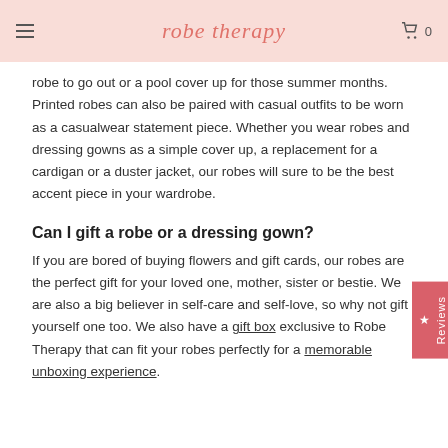robe therapy
robe to go out or a pool cover up for those summer months. Printed robes can also be paired with casual outfits to be worn as a casualwear statement piece. Whether you wear robes and dressing gowns as a simple cover up, a replacement for a cardigan or a duster jacket, our robes will sure to be the best accent piece in your wardrobe.
Can I gift a robe or a dressing gown?
If you are bored of buying flowers and gift cards, our robes are the perfect gift for your loved one, mother, sister or bestie. We are also a big believer in self-care and self-love, so why not gift yourself one too. We also have a gift box exclusive to Robe Therapy that can fit your robes perfectly for a memorable unboxing experience.